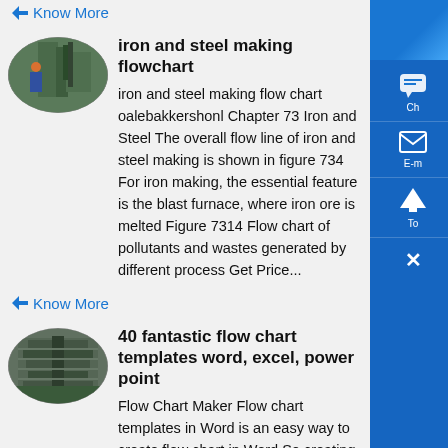Know More
[Figure (photo): Oval-cropped industrial photo showing worker at iron/steel machinery]
iron and steel making flowchart
iron and steel making flow chart oalebakkershonl Chapter 73 Iron and Steel The overall flow line of iron and steel making is shown in figure 734 For iron making, the essential feature is the blast furnace, where iron ore is melted Figure 7314 Flow chart of pollutants and wastes generated by different process Get Price...
Know More
[Figure (photo): Oval-cropped industrial photo of heavy industrial equipment with multiple levels]
40 fantastic flow chart templates word, excel, power point
Flow Chart Maker Flow chart templates in Word is an easy way to create flow chart in Word So creating a flowchart in Word is not that difficult In order to create a flow chart in Word, you need to follow some simple steps First and foremost, open a